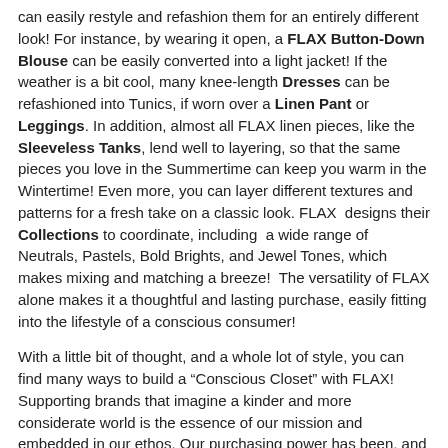can easily restyle and refashion them for an entirely different look! For instance, by wearing it open, a FLAX Button-Down Blouse can be easily converted into a light jacket! If the weather is a bit cool, many knee-length Dresses can be refashioned into Tunics, if worn over a Linen Pant or Leggings. In addition, almost all FLAX linen pieces, like the Sleeveless Tanks, lend well to layering, so that the same pieces you love in the Summertime can keep you warm in the Wintertime! Even more, you can layer different textures and patterns for a fresh take on a classic look. FLAX designs their Collections to coordinate, including a wide range of Neutrals, Pastels, Bold Brights, and Jewel Tones, which makes mixing and matching a breeze! The versatility of FLAX alone makes it a thoughtful and lasting purchase, easily fitting into the lifestyle of a conscious consumer!
With a little bit of thought, and a whole lot of style, you can find many ways to build a “Conscious Closet” with FLAX! Supporting brands that imagine a kinder and more considerate world is the essence of our mission and embedded in our ethos. Our purchasing power has been, and will continue to be, an amazing facilitator of change. We hope you will be inspired to make a conscious effort to support brands like FLAX, and embrace the idea of living sustainably by making only quality and enduring purchases that you will love for life!